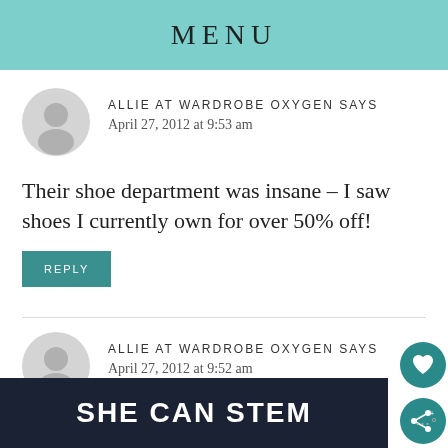MENU
ALLIE AT WARDROBE OXYGEN SAYS
April 27, 2012 at 9:53 am
Their shoe department was insane – I saw shoes I currently own for over 50% off!
REPLY
ALLIE AT WARDROBE OXYGEN SAYS
April 27, 2012 at 9:52 am
[Figure (screenshot): SHE CAN STEM advertisement banner in dark navy background with bold white text]
[Figure (other): Share button icon with +]